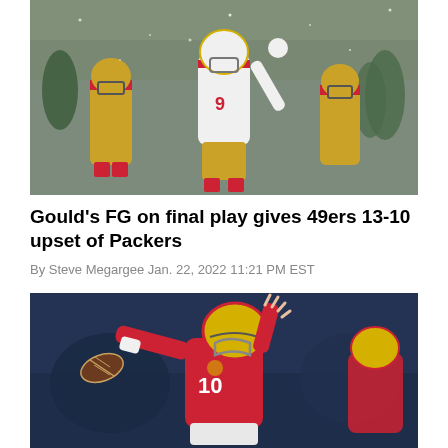[Figure (photo): San Francisco 49ers players in white and gold uniforms celebrating on a snowy field against Green Bay Packers players in green uniforms]
Gould's FG on final play gives 49ers 13-10 upset of Packers
By Steve Megargee Jan. 22, 2022 11:21 PM EST
[Figure (photo): San Francisco 49ers quarterback wearing number 10 in red uniform throwing a pass]